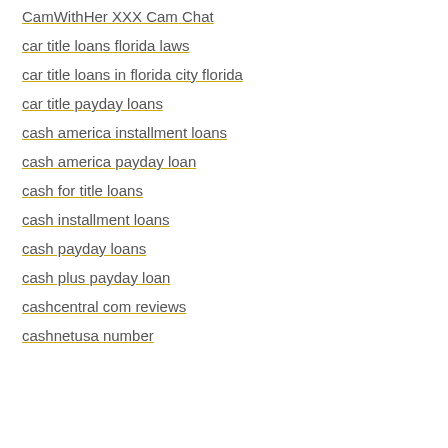CamWithHer XXX Cam Chat
car title loans florida laws
car title loans in florida city florida
car title payday loans
cash america installment loans
cash america payday loan
cash for title loans
cash installment loans
cash payday loans
cash plus payday loan
cashcentral com reviews
cashnetusa number